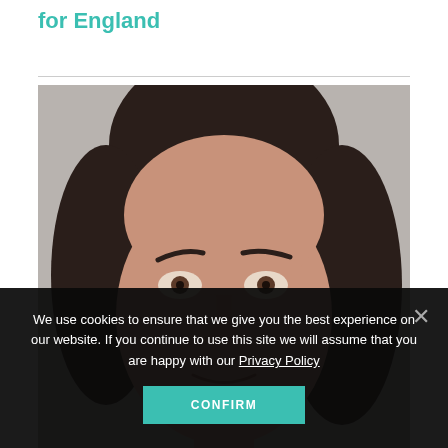for England
[Figure (photo): Close-up portrait photograph of a woman with dark hair, looking directly at the camera, against a grey background]
We use cookies to ensure that we give you the best experience on our website. If you continue to use this site we will assume that you are happy with our Privacy Policy
CONFIRM